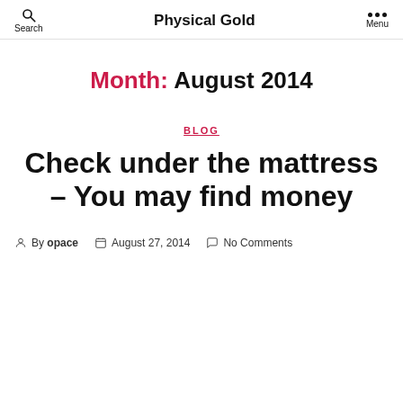Physical Gold
Month: August 2014
BLOG
Check under the mattress – You may find money
By opace  August 27, 2014  No Comments